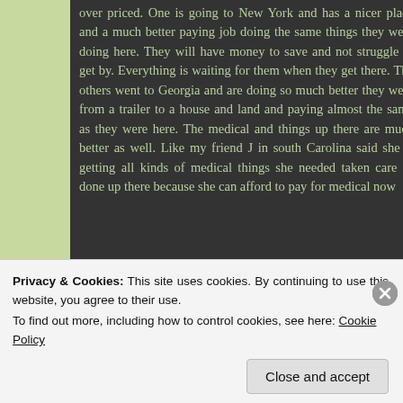over priced. One is going to New York and has a nicer place and a much better paying job doing the same things they were doing here. They will have money to save and not struggle to get by. Everything is waiting for them when they get there. The others went to Georgia and are doing so much better they went from a trailer to a house and land and paying almost the same as they were here. The medical and things up there are much better as well. Like my friend J in south Carolina said she is getting all kinds of medical things she needed taken care of done up there because she can afford to pay for medical now
Privacy & Cookies: This site uses cookies. By continuing to use this website, you agree to their use. To find out more, including how to control cookies, see here: Cookie Policy
Close and accept